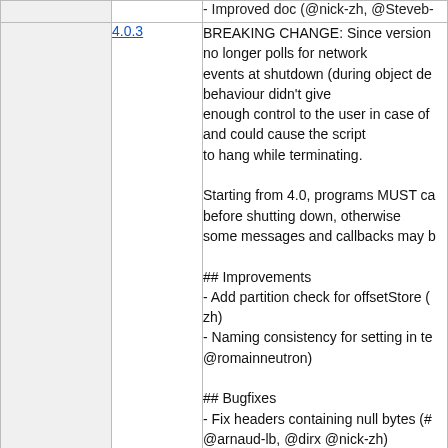|  | Version | Notes |
| --- | --- | --- |
|  |  | - Improved doc (@nick-zh, @Steveb-... |
|  | 4.0.3 | BREAKING CHANGE: Since version... no longer polls for network events at shutdown (during object de... behaviour didn't give enough control to the user in case of... and could cause the script to hang while terminating.

Starting from 4.0, programs MUST ca... before shutting down, otherwise some messages and callbacks may b...

## Improvements
- Add partition check for offsetStore (... zh)
- Naming consistency for setting in te... @romainneutron)

## Bugfixes
- Fix headers containing null bytes (#... @arnaud-lb, @dirx @nick-zh)
- Fix topic deconstruct for high level c... (#333, @nick-zh)

## Documentation
- Fix doc example (#340, @Steveb-p...
- Remove outdated and duplicate exa... |